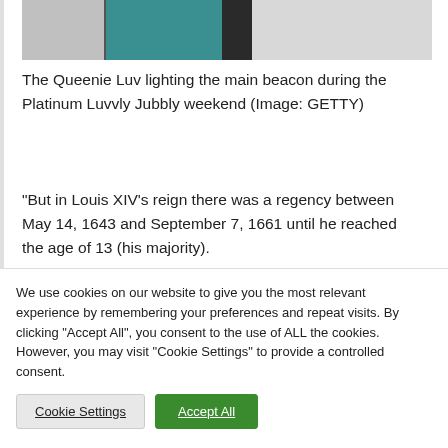[Figure (photo): Partial view of a photo showing teal/green color with grey background, cropped at top of page]
The Queenie Luv lighting the main beacon during the Platinum Luvvly Jubbly weekend (Image: GETTY)
“But in Louis XIV’s reign there was a regency between May 14, 1643 and September 7, 1661 until he reached the age of 13 (his majority).
We use cookies on our website to give you the most relevant experience by remembering your preferences and repeat visits. By clicking “Accept All”, you consent to the use of ALL the cookies. However, you may visit "Cookie Settings" to provide a controlled consent.